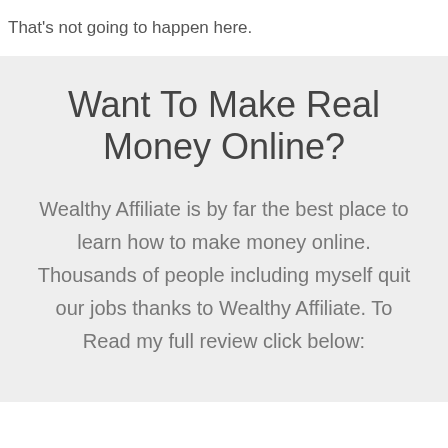That's not going to happen here.
Want To Make Real Money Online?
Wealthy Affiliate is by far the best place to learn how to make money online. Thousands of people including myself quit our jobs thanks to Wealthy Affiliate. To Read my full review click below: